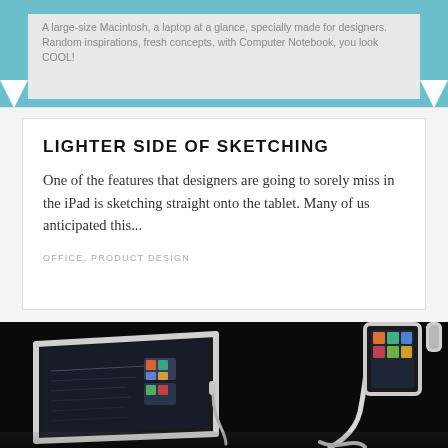[Figure (screenshot): Top card with teal/blue border and bookmark notches at the bottom. Contains partially visible text about a laptop/notebook made for designers.]
LIGHTER SIDE OF SKETCHING
One of the features that designers are going to sorely miss in the iPad is sketching straight onto the tablet. Many of us anticipated this...
OFFICE, PRODUCT DESIGN
[Figure (photo): Dark product photo showing two white iPad/tablet stands or holder devices on a black background, with tablet screens visible showing app interfaces.]